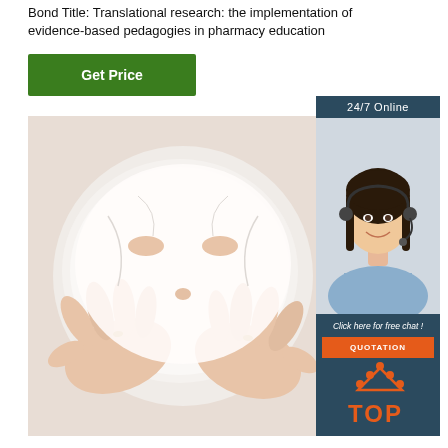Bond Title: Translational research: the implementation of evidence-based pedagogies in pharmacy education
[Figure (other): Green 'Get Price' button]
[Figure (photo): Hands holding a white sheet face mask — close-up photo]
[Figure (photo): Customer service agent (woman with headset) with '24/7 Online' label, 'Click here for free chat!' text, and orange QUOTATION button]
[Figure (logo): TOP badge logo in orange with dot-triangle above text]